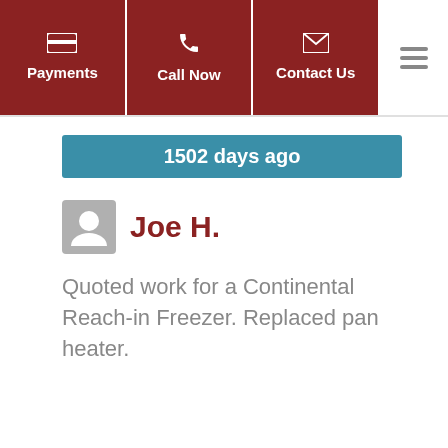Payments | Call Now | Contact Us
1502 days ago
Joe H.
Quoted work for a Continental Reach-in Freezer. Replaced pan heater.